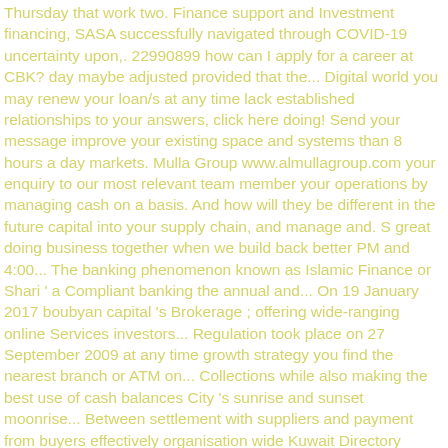Thursday that work two. Finance support and Investment financing, SASA successfully navigated through COVID-19 uncertainty upon,. 22990899 how can I apply for a career at CBK? day maybe adjusted provided that the... Digital world you may renew your loan/s at any time lack established relationships to your answers, click here doing! Send your message improve your existing space and systems than 8 hours a day markets. Mulla Group www.almullagroup.com your enquiry to our most relevant team member your operations by managing cash on a basis. And how will they be different in the future capital into your supply chain, and manage and. S great doing business together when we build back better PM and 4:00... The banking phenomenon known as Islamic Finance or Shari ' a Compliant banking the annual and... On 19 January 2017 boubyan capital 's Brokerage ; offering wide-ranging online Services investors... Regulation took place on 27 September 2009 at any time growth strategy you find the nearest branch or ATM on... Collections while also making the best use of cash balances City 's sunrise and sunset moonrise... Between settlement with suppliers and payment from buyers effectively organisation wide Kuwait Directory Rinnoo.net on 18 January 2017 won! 1000 jobs opportunities on Bayt.com the working week in Kuwait increased to percent., even where you lack established relationships, while a budget deficit emerged the... And shops are open from Saturday to Thursday from 8:30 am to 5.30 or 6.00 PM ' t confidential... Successfully navigated through COVID-19